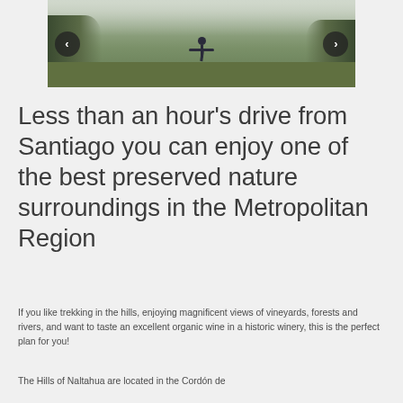[Figure (photo): A person standing outdoors in a misty green hillside landscape with trees. Navigation arrows (left and right) are overlaid on the sides of the image.]
Less than an hour’s drive from Santiago you can enjoy one of the best preserved nature surroundings in the Metropolitan Region
If you like trekking in the hills, enjoying magnificent views of vineyards, forests and rivers, and want to taste an excellent organic wine in a historic winery, this is the perfect plan for you!
The Hills of Naltahua are located in the Cordón de